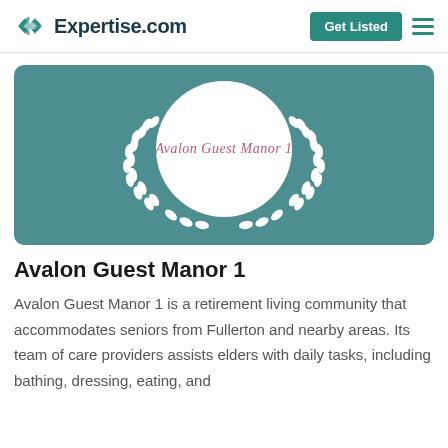Expertise.com | Get Listed
[Figure (logo): Avalon Guest Manor 1 logo — white laurel wreath and circle on teal background with cursive text 'Avalon Guest Manor 1']
Avalon Guest Manor 1
Avalon Guest Manor 1 is a retirement living community that accommodates seniors from Fullerton and nearby areas. Its team of care providers assists elders with daily tasks, including bathing, dressing, eating, and